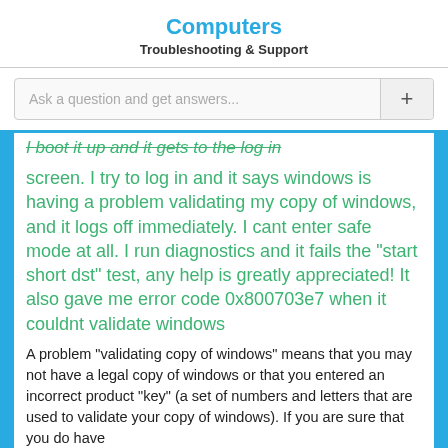Computers
Troubleshooting & Support
Ask a question and get answers...
I boot it up and it gets to the log in screen. I try to log in and it says windows is having a problem validating my copy of windows, and it logs off immediately. I cant enter safe mode at all. I run diagnostics and it fails the "start short dst" test, any help is greatly appreciated! It also gave me error code 0x800703e7 when it couldnt validate windows
A problem "validating copy of windows" means that you may not have a legal copy of windows or that you entered an incorrect product "key" (a set of numbers and letters that are used to validate your copy of windows). If you are sure that you do have
... Dell Latitude D400 Notebook